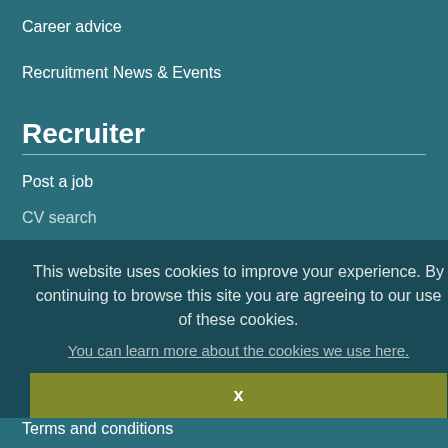Career advice
Recruitment News & Events
Recruiter
Post a job
CV search
About us
About Personnel Today Jobs
Contact Us
This website uses cookies to improve your experience. By continuing to browse this site you are agreeing to our use of these cookies.
You can learn more about the cookies we use here.
x
Terms and conditions